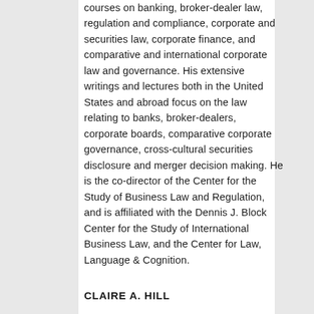courses on banking, broker-dealer law, regulation and compliance, corporate and securities law, corporate finance, and comparative and international corporate law and governance. His extensive writings and lectures both in the United States and abroad focus on the law relating to banks, broker-dealers, corporate boards, comparative corporate governance, cross-cultural securities disclosure and merger decision making. He is the co-director of the Center for the Study of Business Law and Regulation, and is affiliated with the Dennis J. Block Center for the Study of International Business Law, and the Center for Law, Language & Cognition.
CLAIRE A. HILL